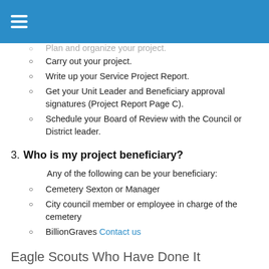≡ (menu icon)
Plan and organize your project.
Carry out your project.
Write up your Service Project Report.
Get your Unit Leader and Beneficiary approval signatures (Project Report Page C).
Schedule your Board of Review with the Council or District leader.
3. Who is my project beneficiary?
Any of the following can be your beneficiary:
Cemetery Sexton or Manager
City council member or employee in charge of the cemetery
BillionGraves Contact us
Eagle Scouts Who Have Done It
Connor Murphy